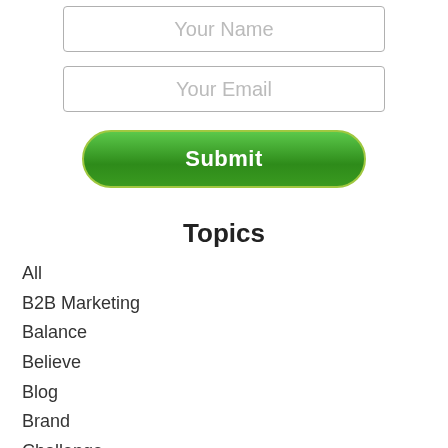[Figure (other): Web form input field with placeholder text 'Your Name']
[Figure (other): Web form input field with placeholder text 'Your Email']
[Figure (other): Green rounded submit button with white bold text 'Submit']
Topics
All
B2B Marketing
Balance
Believe
Blog
Brand
Challenge
Clutter
Commitment
Communication